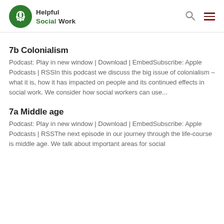Helpful Social Work
7b Colonialism
Podcast: Play in new window | Download | EmbedSubscribe: Apple Podcasts | RSSIn this podcast we discuss the big issue of colonialism – what it is, how it has impacted on people and its continued effects in social work. We consider how social workers can use...
7a Middle age
Podcast: Play in new window | Download | EmbedSubscribe: Apple Podcasts | RSSThe next episode in our journey through the life-course is middle age. We talk about important areas for social